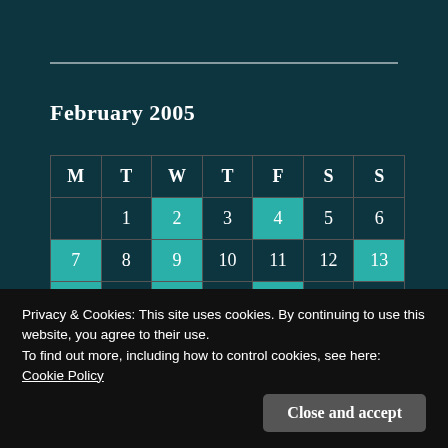February 2005
| M | T | W | T | F | S | S |
| --- | --- | --- | --- | --- | --- | --- |
|  | 1 | 2 | 3 | 4 | 5 | 6 |
| 7 | 8 | 9 | 10 | 11 | 12 | 13 |
| 14 | 15 | 16 | 17 | 18 | 19 | 20 |
Privacy & Cookies: This site uses cookies. By continuing to use this website, you agree to their use.
To find out more, including how to control cookies, see here: Cookie Policy
Close and accept